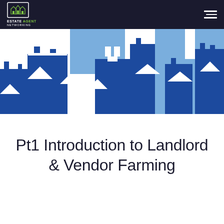ESTATE AGENT NETWORKING
[Figure (illustration): Cityscape/skyline silhouette illustration with dark blue and light blue building shapes against a white background, representing a real estate theme]
Pt1 Introduction to Landlord & Vendor Farming